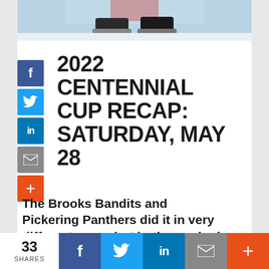[Figure (photo): Hockey goalie skates and net at bottom of photo, partial view]
2022 CENTENNIAL CUP RECAP: SATURDAY, MAY 28
The Brooks Bandits and Pickering Panthers did it in very different ways, but both punched their tickets to the national final with semifinal successes Saturday
33 SHARES  f  t  in  ✉  +